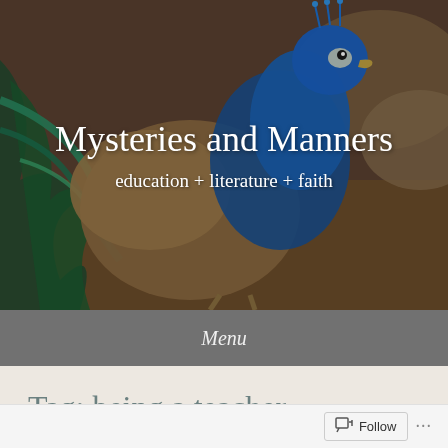[Figure (photo): A peacock photographed in profile against a brown/natural background. The peacock's vivid blue plumage and iridescent feathers are prominent. Overlaid text reads 'Mysteries and Manners' and 'education + literature + faith'.]
Mysteries and Manners
education + literature + faith
Menu
Tag: being a teacher
Follow ...